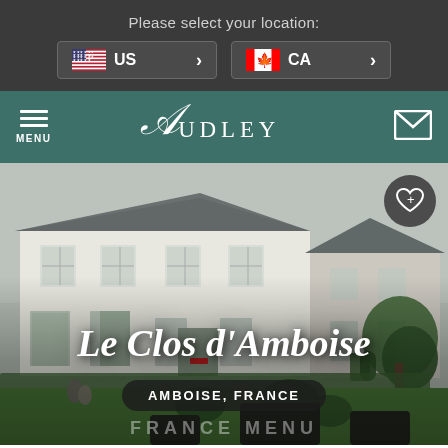Please select your location:
US
CA
[Figure (screenshot): Audley Travel website header with navigation bar showing MENU icon on left, Audley script logo in center, and mail icon on right, on teal/green background]
[Figure (photo): Exterior photograph of Le Clos d'Amboise hotel - a white French chateau-style building with grey slate roofs, white shuttered windows, surrounded by formal gardens with topiary and lawn]
Le Clos d'Amboise
AMBOISE, FRANCE
FRANCE MENU